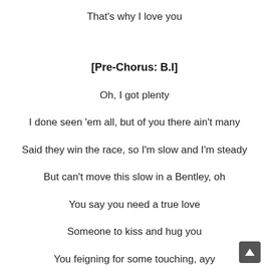That's why I love you
[Pre-Chorus: B.I]
Oh, I got plenty
I done seen 'em all, but of you there ain't many
Said they win the race, so I'm slow and I'm steady
But can't move this slow in a Bentley, oh
You say you need a true love
Someone to kiss and hug you
You feigning for some touching, ayy